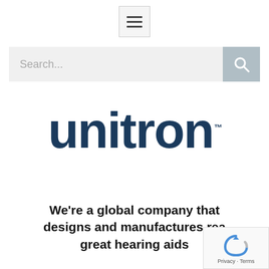[Figure (other): Hamburger menu button icon with three horizontal bars, inside a light gray bordered box]
[Figure (other): Search bar with placeholder text 'Search...' and a blue-gray search button with magnifying glass icon]
[Figure (logo): Unitron logo in large dark navy bold sans-serif text with TM mark]
We're a global company that designs and manufactures really great hearing aids
[Figure (other): reCAPTCHA widget overlay in lower right corner showing refresh/robot icon and 'Privacy - Terms' text]